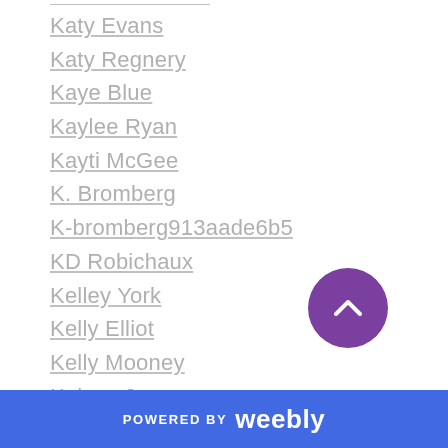Katy Evans
Katy Regnery
Kaye Blue
Kaylee Ryan
Kayti McGee
K. Bromberg
K-bromberg913aade6b5
KD Robichaux
Kelley York
Kelly Elliot
Kelly Mooney
Kelsey Jensen
Kelsey McKnight
Kendall Ryan
Kennedy Ryan
K E Osborn
Ker Dukey
POWERED BY weebly